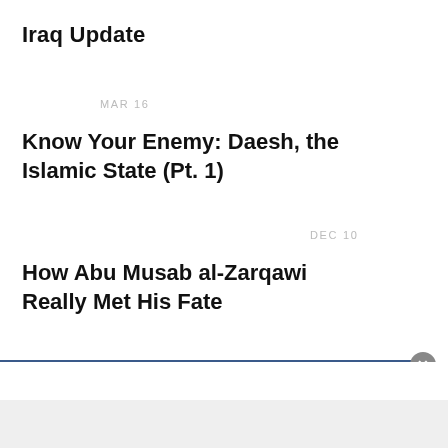Iraq Update
MAR 16
Know Your Enemy: Daesh, the Islamic State (Pt. 1)
DEC 10
How Abu Musab al-Zarqawi Really Met His Fate